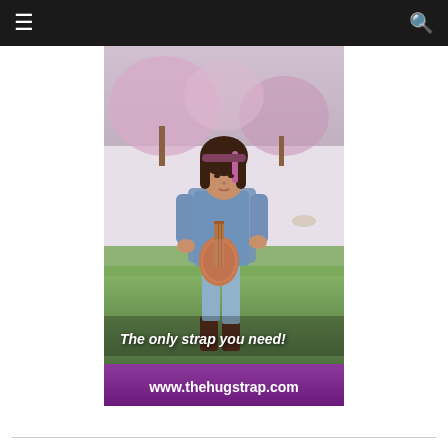[Figure (photo): Advertisement photo showing a young girl with dark hair highlighted with pink/purple streaks, wearing a denim jacket, light blue top, decorated jeans and brown cowboy boots, playing a pink/brown ukulele outdoors in a park with cherry blossom trees in the background. Text overlay reads 'The only strap you need!' and a purple banner below reads 'www.thehugstrap.com']